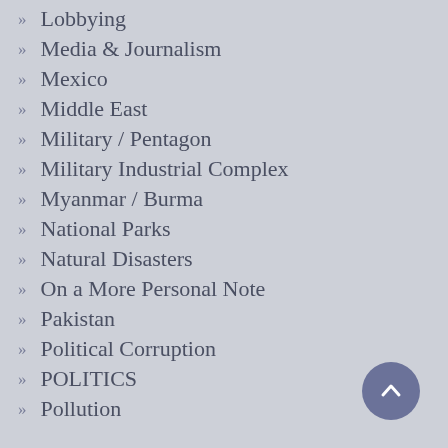» Lobbying
» Media & Journalism
» Mexico
» Middle East
» Military / Pentagon
» Military Industrial Complex
» Myanmar / Burma
» National Parks
» Natural Disasters
» On a More Personal Note
» Pakistan
» Political Corruption
» POLITICS
» Pollution